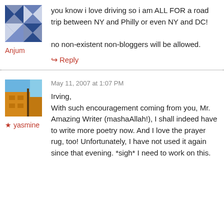[Figure (illustration): Geometric quilt pattern avatar in blue and white with diamond/triangle shapes]
Anjum
you know i love driving so i am ALL FOR a road trip between NY and Philly or even NY and DC!

no non-existent non-bloggers will be allowed.
↳ Reply
[Figure (photo): Photo of a building exterior with blue sky, orange/yellow wall and architectural details]
★ yasmine
May 11, 2007 at 1:07 PM
Irving,
With such encouragement coming from you, Mr. Amazing Writer (mashaAllah!), I shall indeed have to write more poetry now. And I love the prayer rug, too! Unfortunately, I have not used it again since that evening. *sigh* I need to work on this.